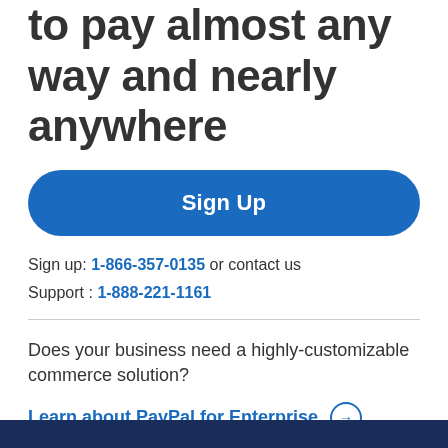to pay almost any way and nearly anywhere
Sign Up
Sign up: 1-866-357-0135 or contact us
Support : 1-888-221-1161
Does your business need a highly-customizable commerce solution?
Learn about PayPal for Enterprise →